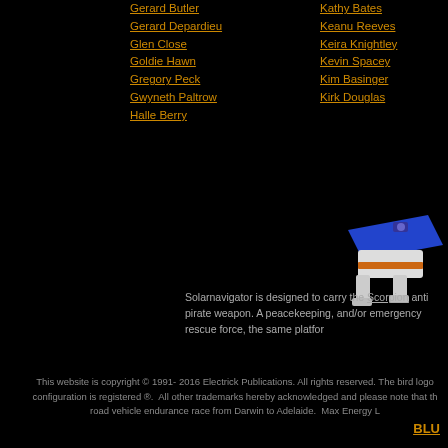Gerard Butler
Gerard Depardieu
Glen Close
Goldie Hawn
Gregory Peck
Gwyneth Paltrow
Halle Berry
Kathy Bates
Keanu Reeves
Keira Knightley
Kevin Spacey
Kim Basinger
Kirk Douglas
[Figure (illustration): 3D rendered robot/vehicle model with blue top panel, white body and orange accents, viewed from an angle on black background]
Solarnavigator is designed to carry the Scorpion anti pirate weapon. A peacekeeping, and/or emergency rescue force, the same platfor
This website is copyright © 1991- 2016 Electrick Publications. All rights reserved. The bird logo configuration is registered ®.  All other trademarks hereby acknowledged and please note that th road vehicle endurance race from Darwin to Adelaide.  Max Energy L
BLU